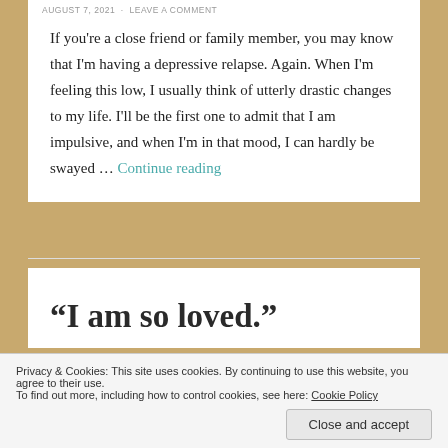AUGUST 7, 2021 · LEAVE A COMMENT
If you're a close friend or family member, you may know that I'm having a depressive relapse. Again. When I'm feeling this low, I usually think of utterly drastic changes to my life. I'll be the first one to admit that I am impulsive, and when I'm in that mood, I can hardly be swayed … Continue reading
“I am so loved.”
Privacy & Cookies: This site uses cookies. By continuing to use this website, you agree to their use.
To find out more, including how to control cookies, see here: Cookie Policy
withdrawal as well as other major life events. Lately, my moods